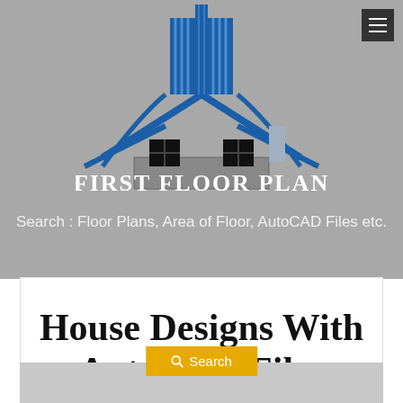[Figure (logo): First Floor Plan website logo: blue architectural house outline with black windows and chimney, blue skyscraper buildings above, text 'FIRST FLOOR PLAN' in white serif font on grey background]
Search : Floor Plans, Area of Floor, AutoCAD Files etc.
House Designs With AutoCAD Files
[Figure (screenshot): Search button with magnifying glass icon in gold/yellow color reading 'Search']